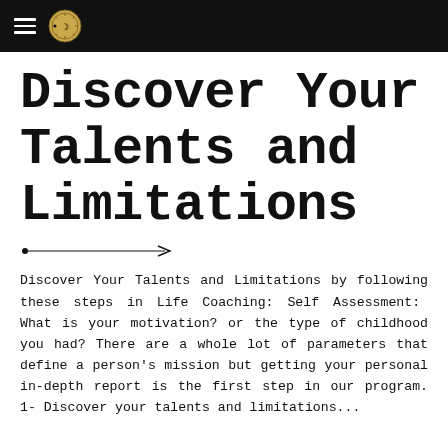[hamburger menu icon] [logo]
Discover Your Talents and Limitations
[Figure (illustration): A small horizontal arrow pointing right, used as a decorative divider.]
Discover Your Talents and Limitations by following these steps in Life Coaching: Self Assessment:  What is your motivation? or the type of childhood you had? There are a whole lot of parameters that define a person's mission but getting your personal in-depth report is the first step in our program. 1- Discover your talents and limitations...